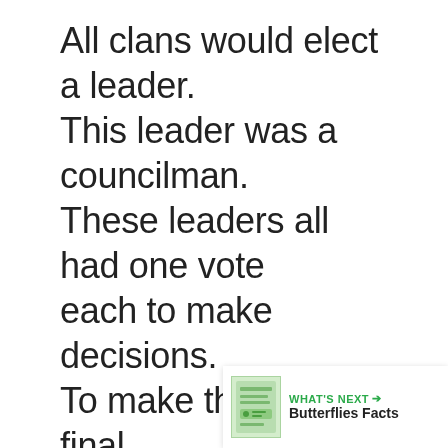All clans would elect a leader.
This leader was a councilman.
These leaders all had one vote each to make decisions.
To make the decision final, every single leader needed to agree. When all people a... this is called unanimity...